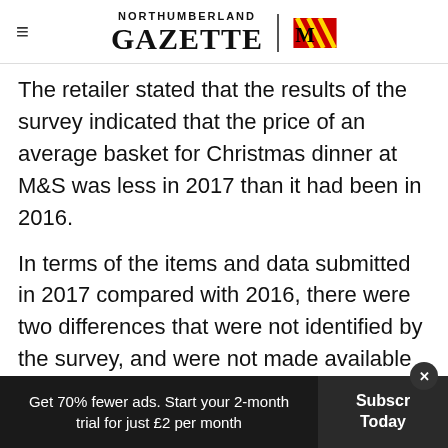NORTHUMBERLAND GAZETTE
The retailer stated that the results of the survey indicated that the price of an average basket for Christmas dinner at M&S was less in 2017 than it had been in 2016.
In terms of the items and data submitted in 2017 compared with 2016, there were two differences that were not identified by the survey, and were not made available on their website for consumers to view.
Get 70% fewer ads. Start your 2-month trial for just £2 per month | Subscribe Today